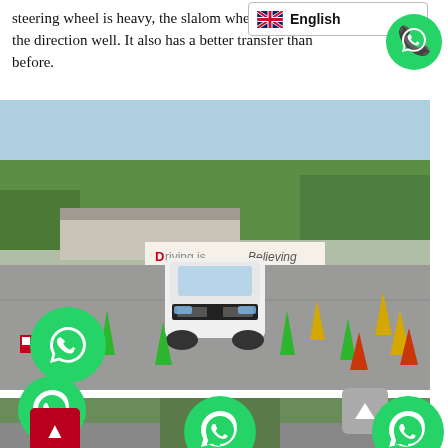steering wheel is heavy, the slalom wheel can control the direction well. It also has a better transfer than before.
[Figure (photo): A white pickup truck navigating a slalom course marked with green, yellow, and red cones on a large paved test track. A banner in the background reads 'Driving is Believing'.]
[Figure (photo): Partial view of a second photo showing trees and road surface, partially obscured by WhatsApp and phone icons.]